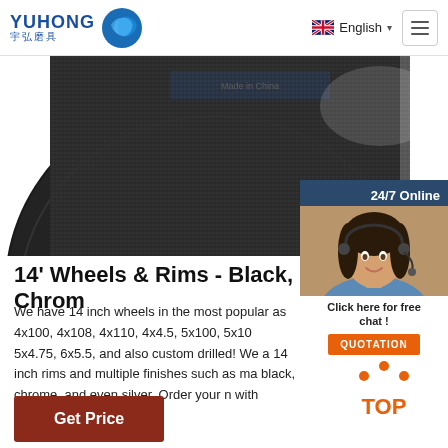[Figure (logo): YUHONG logo with Chinese characters 宇弘磨具 and blue wave/circle icon]
[Figure (photo): Close-up of a black grinding wheel/disc product, partially visible, dark textured surface]
[Figure (photo): 24/7 Online chat popup with customer service woman wearing headset, Click here for free chat button, and QUOTATION orange button]
14' Wheels & Rims - Black, Chrom
We have 14 inch wheels in the most popular as 4x100, 4x108, 4x110, 4x4.5, 5x100, 5x10 5x4.75, 6x5.5, and also custom drilled! We a 14 inch rims and multiple finishes such as ma black, chrome, and even silver. Order your n with FREE SHIPPING!
Get Price
[Figure (illustration): TOP navigation icon with orange dots forming an arc above the word TOP in orange]